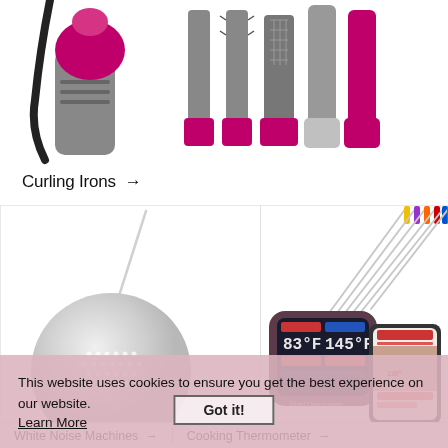[Figure (photo): Hair styling tools - curling iron/air wrap device on left (pink/magenta and grey), multiple attachments/accessories on right with pink bases]
Curling Irons →
[Figure (photo): Left: White noise machine with round speaker grille and thin probe/wand. Right: Smart thermometer display showing 83°F and 145°F readings, alongside colorful multi-probe thermometer set and hand holding phone with app]
This website uses cookies to ensure you get the best experience on our website.
Learn More
Got it!
White Noise Machines →
Cooking Thermometer →